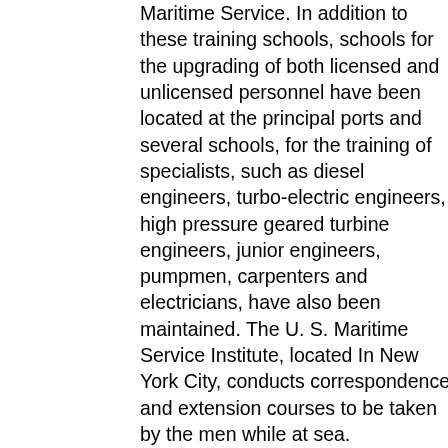Maritime Service. In addition to these training schools, schools for the upgrading of both licensed and unlicensed personnel have been located at the principal ports and several schools, for the training of specialists, such as diesel engineers, turbo-electric engineers, high pressure geared turbine engineers, junior engineers, pumpmen, carpenters and electricians, have also been maintained. The U. S. Maritime Service Institute, located In New York City, conducts correspondence and extension courses to be taken by the men while at sea.

The U. S. Merchant Marine Cadet Corps trains